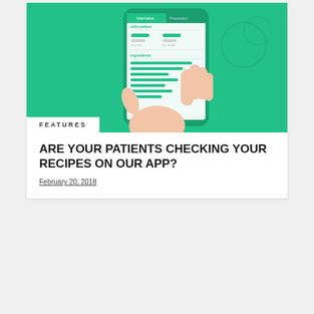[Figure (illustration): Hand holding a smartphone displaying a recipe/medication information app screen with green background. The app shows tabs for Information and Preparation, with fields for ingredients listed as horizontal bars.]
FEATURES
ARE YOUR PATIENTS CHECKING YOUR RECIPES ON OUR APP?
February 20, 2018